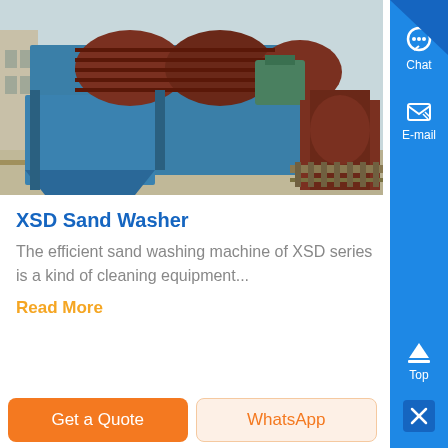[Figure (photo): Blue XSD sand washing machine industrial equipment photographed outdoors with brown rollers and a green motor component visible, set on a concrete surface with railroad-like metal rails]
XSD Sand Washer
The efficient sand washing machine of XSD series is a kind of cleaning equipment...
Read More
Get a Quote
WhatsApp